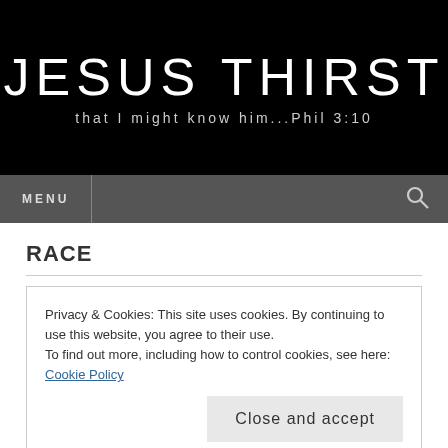JESUS THIRST
that I might know him...Phil 3:10
MENU
RACE
Privacy & Cookies: This site uses cookies. By continuing to use this website, you agree to their use.
To find out more, including how to control cookies, see here: Cookie Policy
Close and accept
the subject of the ongoing national anthem protests by athletes like